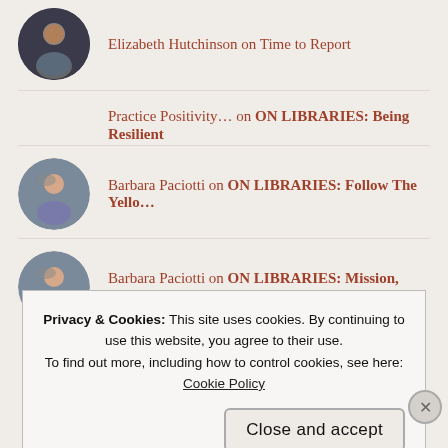Elizabeth Hutchinson on Time to Report
Practice Positivity… on ON LIBRARIES: Being Resilient
Barbara Paciotti on ON LIBRARIES: Follow The Yello…
Barbara Paciotti on ON LIBRARIES: Mission, Vision…
Privacy & Cookies: This site uses cookies. By continuing to use this website, you agree to their use. To find out more, including how to control cookies, see here: Cookie Policy
Close and accept